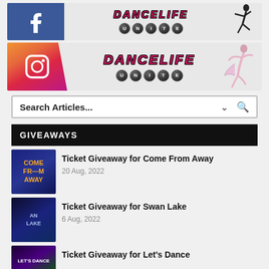[Figure (illustration): Facebook Dancelife Unite banner with Facebook logo icon and dancer silhouette]
[Figure (illustration): Instagram Dancelife Unite banner with Instagram icon and dancer in pink costume]
Search Articles...
GIVEAWAYS
Ticket Giveaway for Come From Away
20 Aug, 2022
Ticket Giveaway for Swan Lake
6 Aug, 2022
Ticket Giveaway for Let's Dance